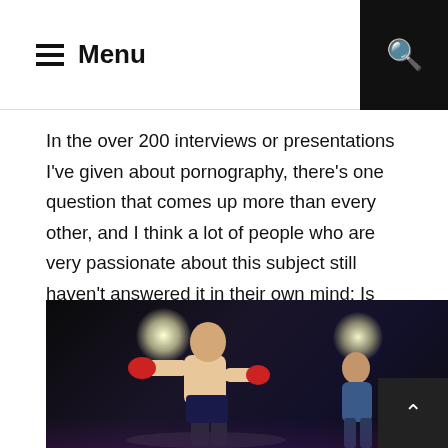Menu
In the over 200 interviews or presentations I've given about pornography, there's one question that comes up more than every other, and I think a lot of people who are very passionate about this subject still haven't answered it in their own mind: Is there an actual definition of pornography? I do want to state...
CONTINUE READING →
[Figure (photo): Boxer in a boxing ring under bright stage lights, another person visible in the background to the right]